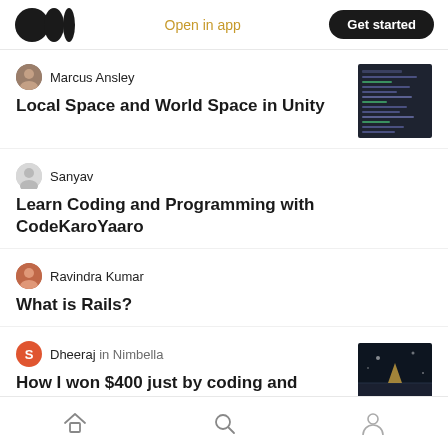Open in app | Get started
Marcus Ansley
Local Space and World Space in Unity
Sanyav
Learn Coding and Programming with CodeKaroYaaro
Ravindra Kumar
What is Rails?
Dheeraj in Nimbella
How I won $400 just by coding and playing
Home | Search | Profile